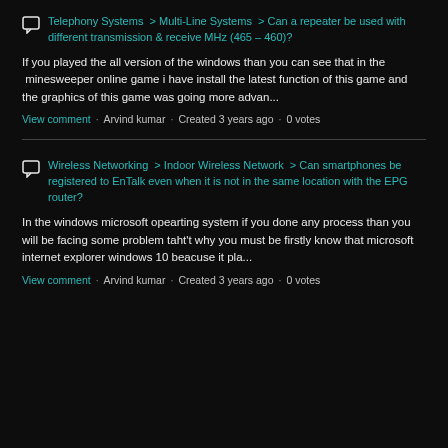Telephony Systems > Multi-Line Systems > Can a repeater be used with different transmission & receive MHz (465 – 460)?
If you played the all version of the windows than you can see that in the  minesweeper online game i have install the latest function of this game and the graphics of this game was going more advan...
View comment · Arvind kumar · Created 3 years ago · 0 votes
Wireless Networking > Indoor Wireless Network > Can smartphones be registered to EnTalk even when it is not in the same location with the EPG router?
In the windows microsoft opearting system if you done any process than you will be facing some problem taht't why you must be firstly know that microsoft internet explorer windows 10 beacuse it pla...
View comment · Arvind kumar · Created 3 years ago · 0 votes